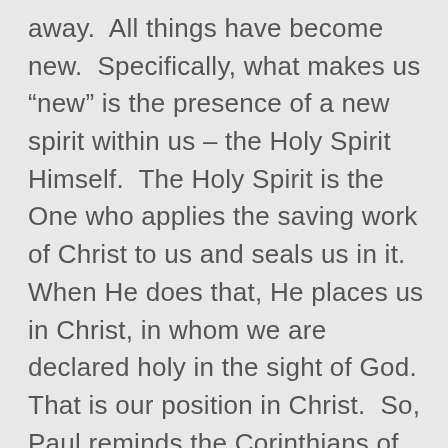away.  All things have become new.  Specifically, what makes us “new” is the presence of a new spirit within us – the Holy Spirit Himself.  The Holy Spirit is the One who applies the saving work of Christ to us and seals us in it.  When He does that, He places us in Christ, in whom we are declared holy in the sight of God.  That is our position in Christ.  So, Paul reminds the Corinthians of their position in Christ.  He says “you really are unleavened.”  You really are righteous and holy in Christ.  Therefore, live in your daily lives what you already are in Christ.  Live in purity and cleanse out any sin among you in order to preserve the purity of the Church.